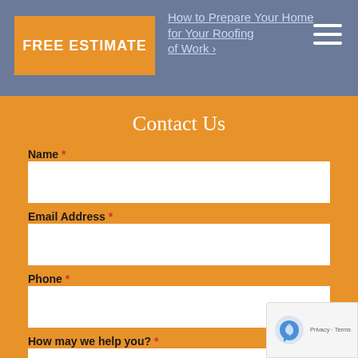How to Prepare Your Home for Your Roofing of Work >
FREE ESTIMATE
Contact Us
Name *
Email Address *
Phone *
How may we help you? *